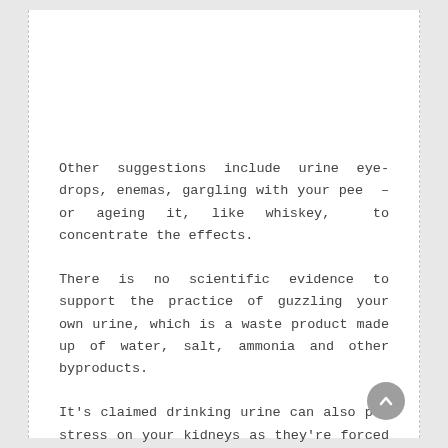Other suggestions include urine eye-drops, enemas, gargling with your pee  – or ageing it, like whiskey,  to concentrate the effects.
There is no scientific evidence to support the practice of guzzling your own urine, which is a waste product made up of water, salt, ammonia and other byproducts.
It's claimed drinking urine can also put stress on your kidneys as they're forced to process the toxins again.
Yet people are still keen to sip away.